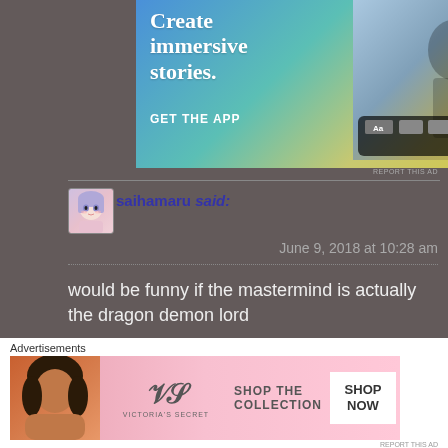[Figure (photo): Advertisement banner: gradient background with text 'Create immersive stories.' and 'GET THE APP', alongside a phone mockup showing a photo editing app interface]
REPORT THIS AD
saihamaru said:
June 9, 2018 at 10:28 am
would be funny if the mastermind is actually the dragon demon lord
★ Like
REPLY
Advertisements
[Figure (photo): Victoria's Secret advertisement with pink background, model photo, VS logo, text 'SHOP THE COLLECTION', and 'SHOP NOW' button]